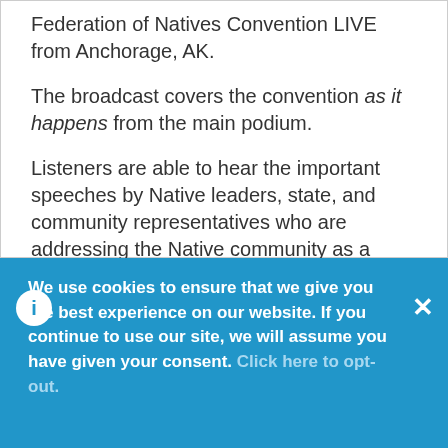Federation of Natives Convention LIVE from Anchorage, AK.
The broadcast covers the convention as it happens from the main podium.
Listeners are able to hear the important speeches by Native leaders, state, and community representatives who are addressing the Native community as a whole.
We use cookies to ensure that we give you the best experience on our website. If you continue to use our site, we will assume you have given your consent. Click here to opt-out.